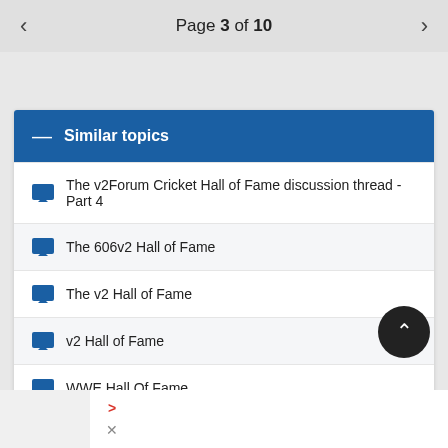Page 3 of 10
Similar topics
The v2Forum Cricket Hall of Fame discussion thread - Part 4
The 606v2 Hall of Fame
The v2 Hall of Fame
v2 Hall of Fame
WWE Hall Of Fame